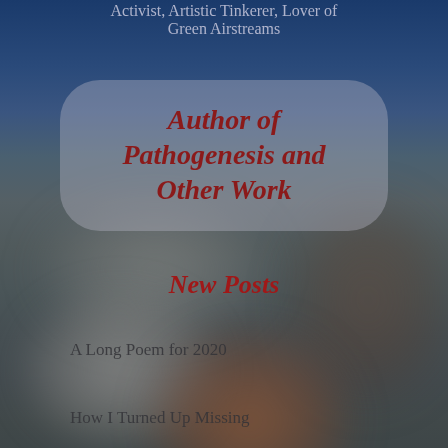Activist, Artistic Tinkerer, Lover of Green Airstreams
Author of Pathogenesis and Other Work
New Posts
A Long Poem for 2020
How I Turned Up Missing
UCLA Chemi... ...plements